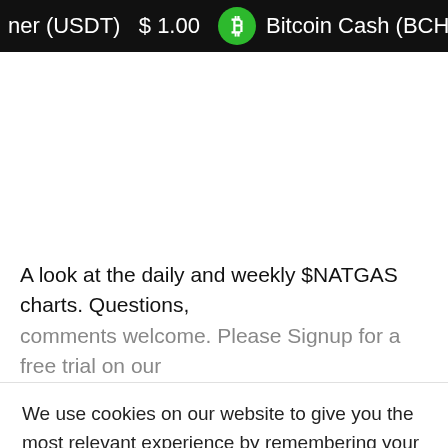ner (USDT)  $ 1.00   Bitcoin Cash (BCH)  $ 141.74   Lite
A look at the daily and weekly $NATGAS charts. Questions, comments welcome. Please Signup for a free trial on our
We use cookies on our website to give you the most relevant experience by remembering your preferences and repeat visits. By clicking “Accept”, you consent to the use of ALL the cookies.
Do not sell my personal information.
Cookie settings   ACCEPT